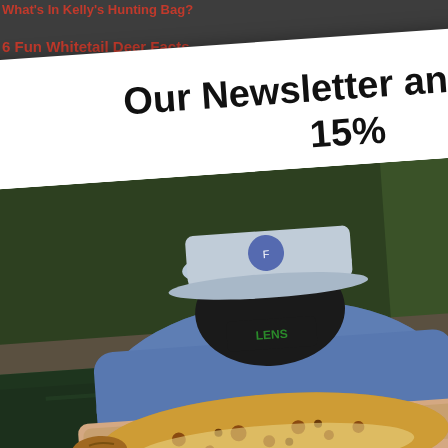What's In Kelly's Hunting Bag?
6 Fun Whitetail Deer Facts
Our Newsletter and save 15%
[Figure (photo): Person wearing camo clothing and face mask holding a large brown trout near a creek with green forest background]
Sign up today and receive a discount code for 15% Off your first purchase!
Valid for online purchases ONLY, not In-store.
Enter your email